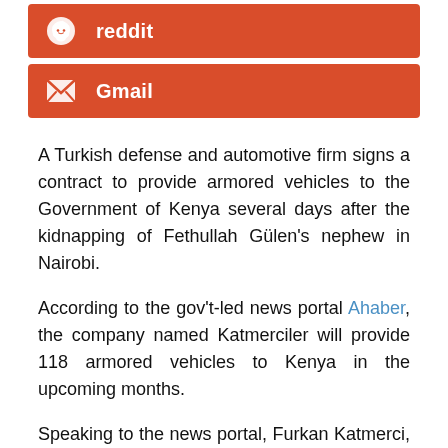reddit
Gmail
A Turkish defense and automotive firm signs a contract to provide armored vehicles to the Government of Kenya several days after the kidnapping of Fethullah Gülen's nephew in Nairobi.
According to the gov't-led news portal Ahaber, the company named Katmerciler will provide 118 armored vehicles to Kenya in the upcoming months.
Speaking to the news portal, Furkan Katmerci, the owner of the company, said that the name of the armored vehicle was “Hızır,” an immortal believed to come in time of need. “Our Hızır 4×4 Tactical Wheeled Armored Vehicle has been hailed all over Africa. Our expansion in the African market